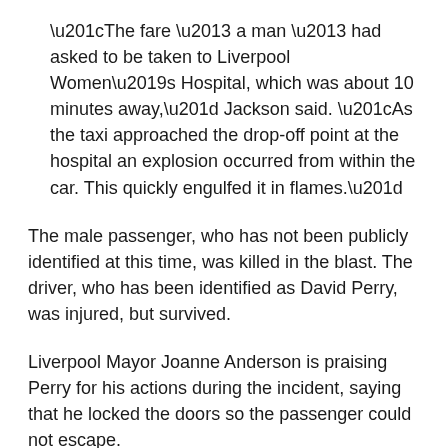“The fare – a man – had asked to be taken to Liverpool Women’s Hospital, which was about 10 minutes away,” Jackson said. “As the taxi approached the drop-off point at the hospital an explosion occurred from within the car. This quickly engulfed it in flames.”
The male passenger, who has not been publicly identified at this time, was killed in the blast. The driver, who has been identified as David Perry, was injured, but survived.
Liverpool Mayor Joanne Anderson is praising Perry for his actions during the incident, saying that he locked the doors so the passenger could not escape.
“The taxi driver, in his heroic efforts, has managed to divert what could have been an absolutely awful disaster